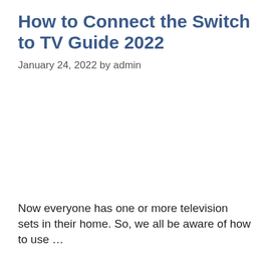How to Connect the Switch to TV Guide 2022
January 24, 2022 by admin
[Figure (other): Image placeholder area (blank/white image area)]
Now everyone has one or more television sets in their home. So, we all be aware of how to use …